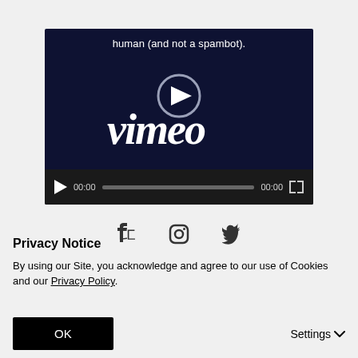[Figure (screenshot): Vimeo embedded video player with dark navy background showing Vimeo logo and playback controls. Caption text reads 'human (and not a spambot).' at top. Controls show play button, 00:00 timestamps, progress bar, and fullscreen button.]
[Figure (screenshot): Social media icon bar showing Facebook, Instagram, and Twitter icons on a light gray background.]
Privacy Notice
By using our Site, you acknowledge and agree to our use of Cookies and our Privacy Policy.
OK
Settings